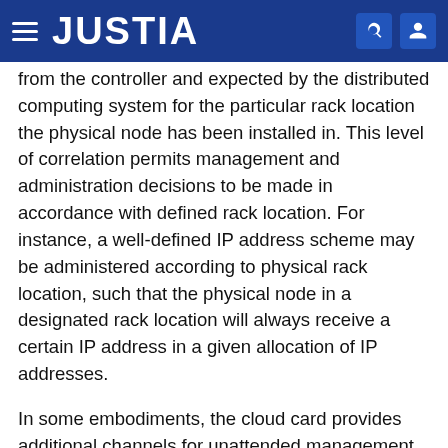JUSTIA
from the controller and expected by the distributed computing system for the particular rack location the physical node has been installed in. This level of correlation permits management and administration decisions to be made in accordance with defined rack location. For instance, a well-defined IP address scheme may be administered according to physical rack location, such that the physical node in a designated rack location will always receive a certain IP address in a given allocation of IP addresses.
In some embodiments, the cloud card provides additional channels for unattended management and control of the physical node through serial interface relay and keyboard-video-mouse relay functions. The serial interface relay attaches to the physical node's serial interface by means of universal asynchronous